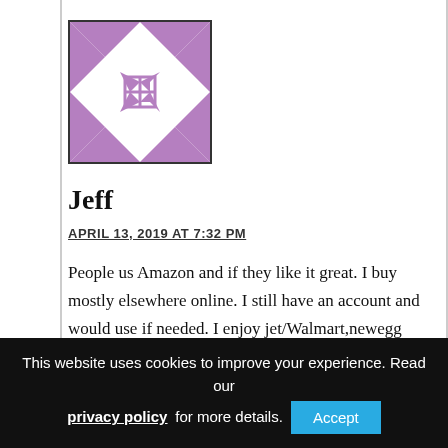[Figure (illustration): Purple and white geometric shuriken/pinwheel avatar icon with a black border]
Jeff
APRIL 13, 2019 AT 7:32 PM
People us Amazon and if they like it great. I buy mostly elsewhere online. I still have an account and would use if needed. I enjoy jet/Walmart,newegg thrift books and others with free shipping no prime. If you quite prime Amazon can't run. Use whatever is best for you it's America. Amazon could close and I would
This website uses cookies to improve your experience. Read our privacy policy for more details.  Accept